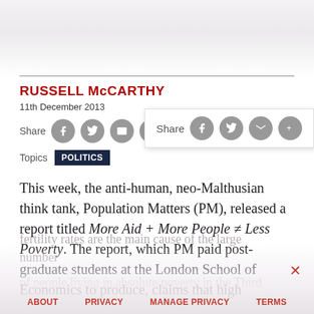RUSSELL MCCARTHY
11th December 2013
Share
Topics POLITICS
This week, the anti-human, neo-Malthusian think tank, Population Matters (PM), released a report titled More Aid + More People ≠ Less Poverty. The report, which PM paid post-graduate students at the London School of Economics to produce, claims that high fertility rates are the main cause of the large number
ABOUT   PRIVACY   MANAGE PRIVACY   TERMS